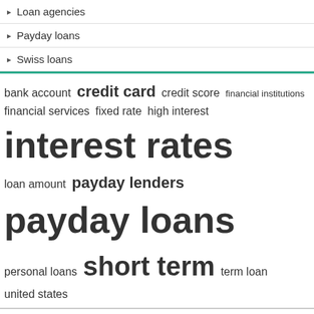Loan agencies
Payday loans
Swiss loans
[Figure (infographic): Word cloud with finance-related terms in various sizes: bank account, credit card, credit score, financial institutions, financial services, fixed rate, high interest, interest rates, loan amount, payday lenders, payday loans, personal loans, short term, term loan, united states]
Recent Posts
Lawmakers approve $1.4 billion loan to PG&E to keep Diablo Canyon nuclear plant open | app
Short-term loans vs. bank overdraft fees – InsideSources
This cheap dividend stock sheds light on its hidden upside potential